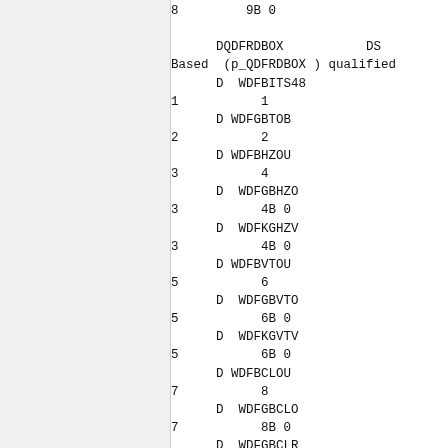8         9B 0

      DQDFRDBOX           DS
Based  (p_QDFRDBOX ) qualified
      D  WDFBITS48
1           1
      D WDFGBTOB
2           2
      D WDFBHZOU
3           4
      D  WDFGBHZO
3           4B 0
      D  WDFKGHZV
3           4B 0
      D WDFBVTOU
5           6
      D  WDFGBVTO
5           6B 0
      D  WDFKGVTV
5           6B 0
      D WDFBCLOU
7           8
      D  WDFGBCLO
7           8B 0
      D  WDFGBCLR
7           7
      D WDFBLTOU
9          10
      D  WDFGBLTO
9          10B 0
      D  WDFGBLNT
9           9
      D  WDFBCTLO